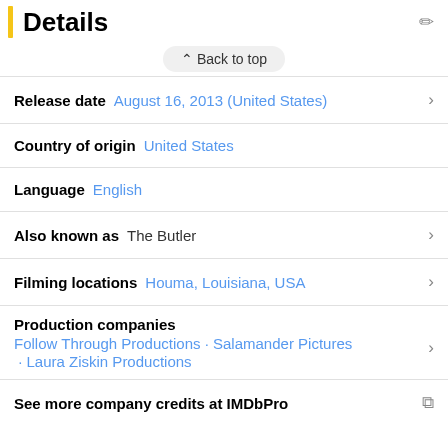Details
Back to top
Release date  August 16, 2013 (United States)
Country of origin  United States
Language  English
Also known as  The Butler
Filming locations  Houma, Louisiana, USA
Production companies  Follow Through Productions · Salamander Pictures · Laura Ziskin Productions
See more company credits at IMDbPro